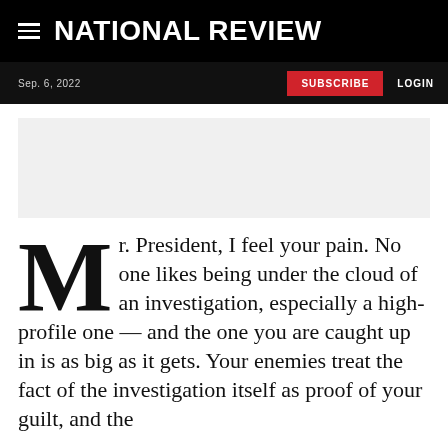NATIONAL REVIEW
Sep. 6, 2022  SUBSCRIBE  LOGIN
[Figure (other): Advertisement banner placeholder, light gray rectangle]
Mr. President, I feel your pain. No one likes being under the cloud of an investigation, especially a high-profile one — and the one you are caught up in is as big as it gets. Your enemies treat the fact of the investigation itself as proof of your guilt, and the